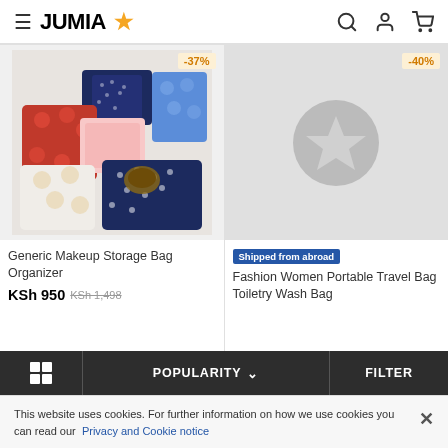JUMIA
[Figure (screenshot): Product listing card: Generic Makeup Storage Bag Organizer, KSh 950 (was KSh 1,498), -37% discount, with product photo showing multiple colorful fabric bags]
Generic Makeup Storage Bag Organizer
KSh 950  KSh 1,498
[Figure (screenshot): Product listing card: Fashion Women Portable Travel Bag Toiletry Wash Bag, -40% discount, Shipped from abroad, image loading placeholder]
Shipped from abroad
Fashion Women Portable Travel Bag Toiletry Wash Bag
POPULARITY  FILTER
This website uses cookies. For further information on how we use cookies you can read our Privacy and Cookie notice